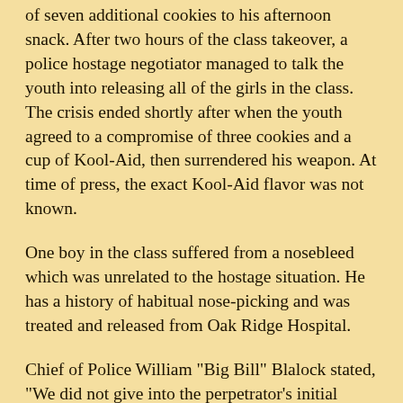of seven additional cookies to his afternoon snack. After two hours of the class takeover, a police hostage negotiator managed to talk the youth into releasing all of the girls in the class. The crisis ended shortly after when the youth agreed to a compromise of three cookies and a cup of Kool-Aid, then surrendered his weapon. At time of press, the exact Kool-Aid flavor was not known.
One boy in the class suffered from a nosebleed which was unrelated to the hostage situation. He has a history of habitual nose-picking and was treated and released from Oak Ridge Hospital.
Chief of Police William "Big Bill" Blalock stated, "We did not give into the perpetrator's initial demands. Our negotiating team performed effectively and I am proud of them and the job that they did."
After questioning the youth, detectives from the Oak Ridge Police Department have determined that the student, Brian Hamby, acquired the 38-caliber revolver from an